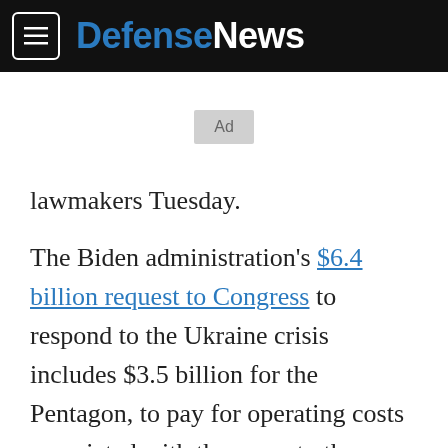DefenseNews
[Figure (other): Advertisement placeholder box labeled 'Ad']
lawmakers Tuesday.
The Biden administration's $6.4 billion request to Congress to respond to the Ukraine crisis includes $3.5 billion for the Pentagon, to pay for operating costs associated with the surge to the current 100,000 U.S. troops in Europe or its waters and also to backfill weapons the U.S. military is sending from its stockpiles to Ukraine.